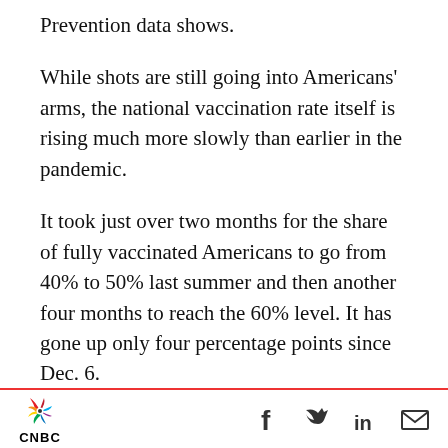Prevention data shows.
While shots are still going into Americans' arms, the national vaccination rate itself is rising much more slowly than earlier in the pandemic.
It took just over two months for the share of fully vaccinated Americans to go from 40% to 50% last summer and then another four months to reach the 60% level. It has gone up only four percentage points since Dec. 6.
Covid vaccinations spiked in December as states confirmed their first cases of the omicron variant, but have since fallen off. The U.S. administered
CNBC [social icons: Facebook, Twitter, LinkedIn, Email]